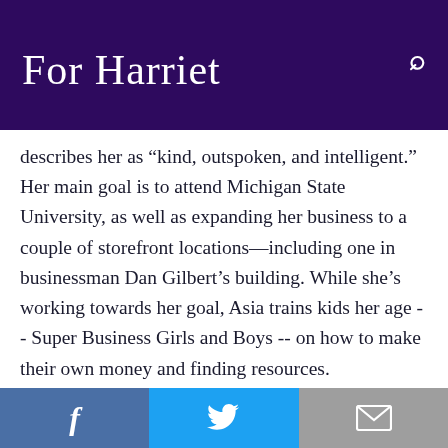For Harriet
describes her as “kind, outspoken, and intelligent.” Her main goal is to attend Michigan State University, as well as expanding her business to a couple of storefront locations—including one in businessman Dan Gilbert’s building. While she’s working towards her goal, Asia trains kids her age -- Super Business Girls and Boys -- on how to make their own money and finding resources.
f  [Twitter bird]  [envelope]